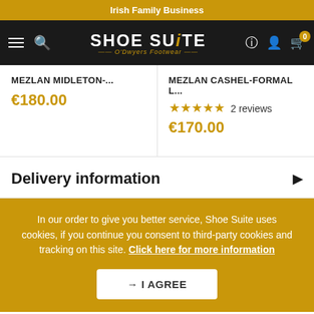Irish Family Business
[Figure (screenshot): Shoe Suite navigation bar with hamburger menu, search icon, logo 'SHOE SUITE O'Dwyers Footwear', and icons for location, account, and cart with badge '0']
MEZLAN MIDLETON-... €180.00
MEZLAN CASHEL-FORMAL L... 2 reviews €170.00
Delivery information
In our order to give you better service, Shoe Suite uses cookies, if you continue you consent to third-party cookies and tracking on this site. Click here for more information
→ I AGREE